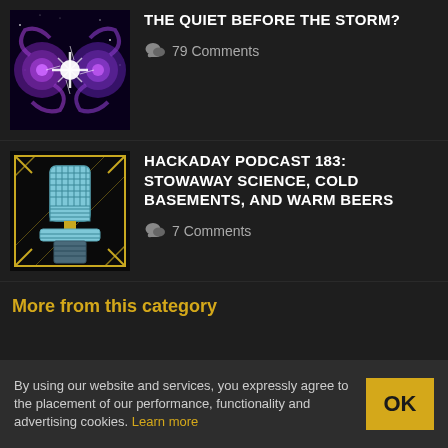THE QUIET BEFORE THE STORM?
79 Comments
HACKADAY PODCAST 183: STOWAWAY SCIENCE, COLD BASEMENTS, AND WARM BEERS
7 Comments
More from this category
By using our website and services, you expressly agree to the placement of our performance, functionality and advertising cookies. Learn more
OK